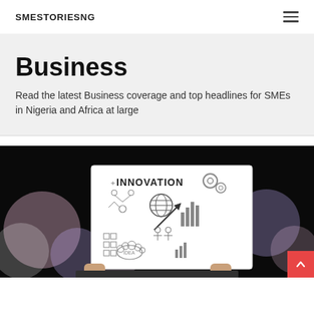SMESTORIESNG
Business
Read the latest Business coverage and top headlines for SMEs in Nigeria and Africa at large
[Figure (photo): Person holding a white board with 'INNOVATION' written in bold letters, surrounded by hand-drawn icons representing business innovation concepts such as gears, charts, diagrams, lightbulb, and idea bubbles. Background shows colorful bokeh lights.]